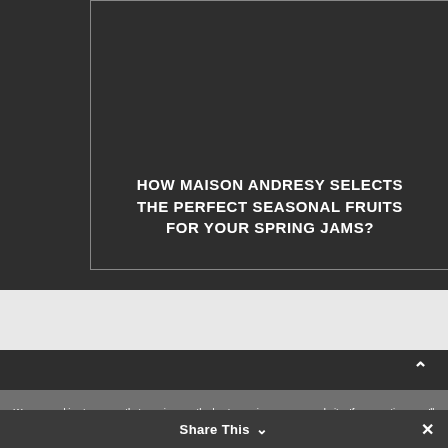[Figure (screenshot): Dark background webpage section with a bordered box containing a centered title text]
HOW MAISON ANDRESY SELECTS THE PERFECT SEASONAL FRUITS FOR YOUR SPRING JAMS?
We use cookies to ensure that we give you the best experience on our website. If you continue, we'll assume that you are happy to receive all the cookies on this website
Share This